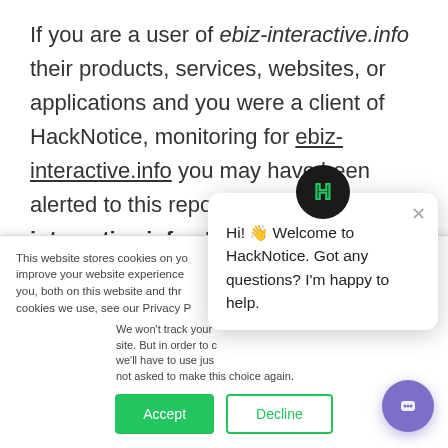If you are a user of ebiz-interactive.info their products, services, websites, or applications and you were a client of HackNotice, monitoring for ebiz-interactive.info you may have been alerted to this report about ebiz-interactive.info . HackNotice is a service that provides data, information, and monitoring that helps our clients recover from and
This website stores cookies on your computer. These are used to improve your website experience you, both on this website and through cookies we use, see our Privacy P
We won't track your site. But in order to w we'll have to use jus not asked to make this choice again.
[Figure (other): Cookie consent banner with Accept (green) and Decline (outlined) buttons, and a HackNotice chat popup widget showing 'Hi! Welcome to HackNotice. Got any questions? I'm happy to help.' with a purple chat bubble button]